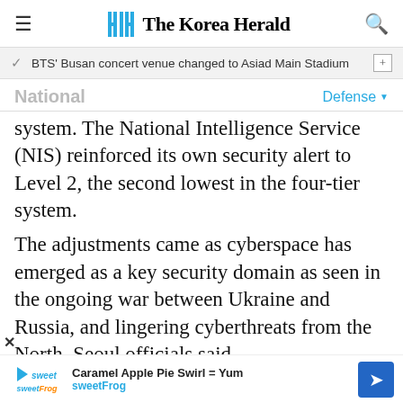The Korea Herald
BTS' Busan concert venue changed to Asiad Main Stadium
National
Defense
system. The National Intelligence Service (NIS) reinforced its own security alert to Level 2, the second lowest in the four-tier system.
The adjustments came as cyberspace has emerged as a key security domain as seen in the ongoing war between Ukraine and Russia, and lingering cyberthreats from the North, Seoul officials said.
Under the first CPCON elevation since August
Caramel Apple Pie Swirl = Yum sweetFrog